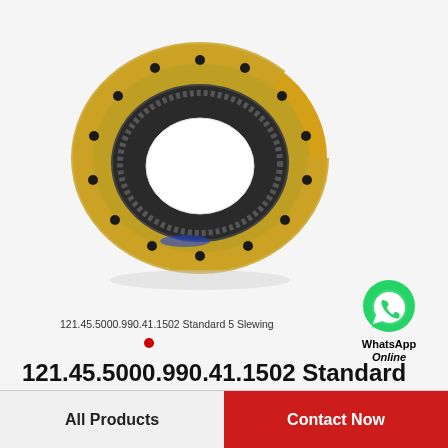[Figure (photo): Slewing ring bearing with gold/brass-colored outer ring and dark inner gear ring with bolt holes, viewed at an angle against white background]
[Figure (logo): WhatsApp green speech bubble icon with phone handset symbol, with text 'WhatsApp Online' below]
121.45.5000.990.41.1502 Standard 5 Slewing
121.45.5000.990.41.1502 Standard 5 Slewing Ring Bearings
All Products
Contact Now